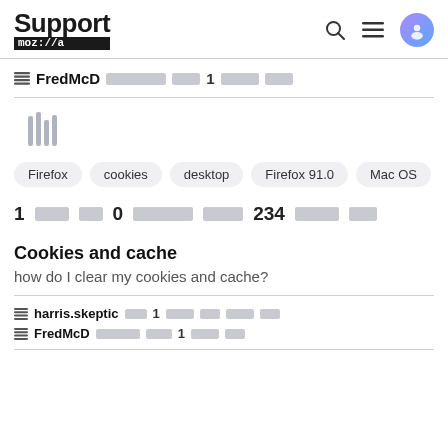Support mozilla — header with search, menu, and avatar icons
FredMcD [redacted] 1 [redacted]
[Figure (illustration): Library/stack icon in grey]
Tags: Firefox, cookies, desktop, Firefox 91.0, Mac OS
1 [redacted] 0 [redacted] 234 [redacted]
Cookies and cache
how do I clear my cookies and cache?
harris.skeptic [redacted] 1 [redacted]
FredMcD [redacted] 1 [redacted]